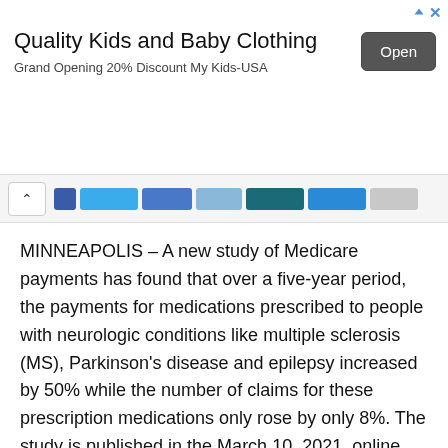[Figure (other): Advertisement banner for 'Quality Kids and Baby Clothing' with an 'Open' button. Text reads: Grand Opening 20% Discount My Kids-USA]
[Figure (other): Browser navigation bar with a back/up arrow button and several colored tab indicators in blue, teal, and gray]
MINNEAPOLIS – A new study of Medicare payments has found that over a five-year period, the payments for medications prescribed to people with neurologic conditions like multiple sclerosis (MS), Parkinson's disease and epilepsy increased by 50% while the number of claims for these prescription medications only rose by only 8%. The study is published in the March 10, 2021, online issue of Neurology®, the medical journal of the American Academy of Neurology. The study, funded by the American Academy of Neurology, also found that most of the increase was due to rising costs for neuroimmunology drugs, mostly for multiple sclerosis.